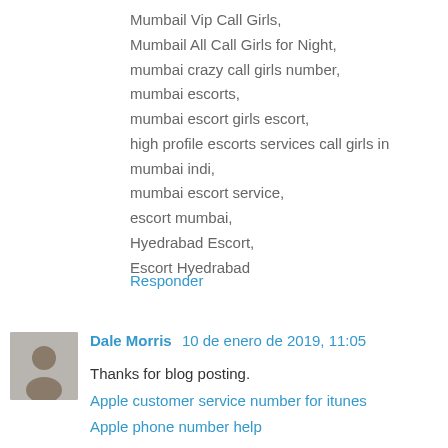Mumbail Vip Call Girls,
Mumbail All Call Girls for Night,
mumbai crazy call girls number,
mumbai escorts,
mumbai escort girls escort,
high profile escorts services call girls in mumbai indi,
mumbai escort service,
escort mumbai,
Hyedrabad Escort,
Escort Hyedrabad
Responder
Dale Morris  10 de enero de 2019, 11:05
Thanks for blog posting.
Apple customer service number for itunes
Apple phone number help
Apple customer support itunes
Responder